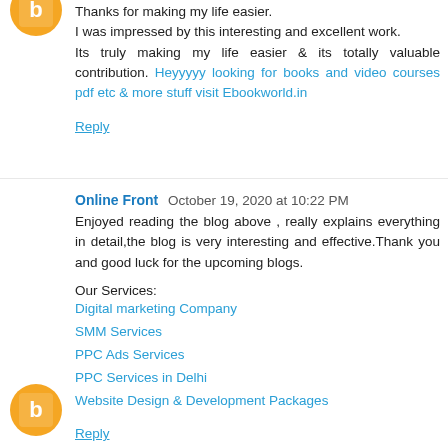Thanks for making my life easier.
I was impressed by this interesting and excellent work.
Its truly making my life easier & its totally valuable contribution. Heyyyyy looking for books and video courses pdf etc & more stuff visit Ebookworld.in
Reply
Online Front  October 19, 2020 at 10:22 PM
Enjoyed reading the blog above , really explains everything in detail,the blog is very interesting and effective.Thank you and good luck for the upcoming blogs.
Our Services:
Digital marketing Company
SMM Services
PPC Ads Services
PPC Services in Delhi
Website Design & Development Packages
Reply